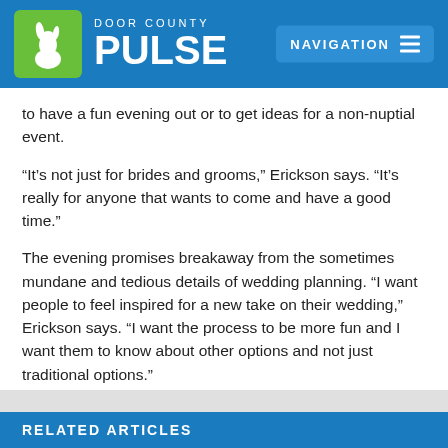Door County Pulse | Navigation
to have a fun evening out or to get ideas for a non-nuptial event.
“It’s not just for brides and grooms,” Erickson says. “It’s really for anyone that wants to come and have a good time.”
The evening promises breakaway from the sometimes mundane and tedious details of wedding planning. “I want people to feel inspired for a new take on their wedding,” Erickson says. “I want the process to be more fun and I want them to know about other options and not just traditional options.”
Tickets can be purchased online at lovebashdesign.com or at the door. The event takes place from 4 to 9 pm.
RELATED ARTICLES